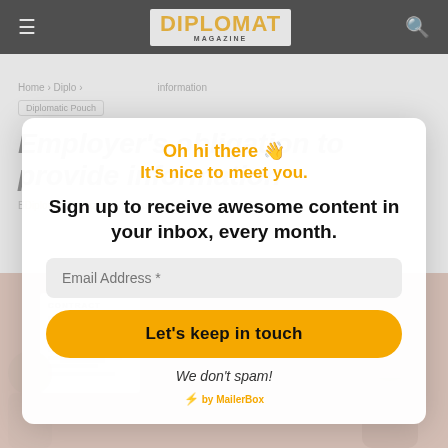DIPLOMAT MAGAZINE
Home › Diplomat Magazine › information
Diplomatic Pouch
Employer's obligation to provide information
By Diplomat Magazine – February 6, 2022 | 470 | 0
[Figure (illustration): Illustration of a contract document with people in the background]
Oh hi there 👋
It's nice to meet you.
Sign up to receive awesome content in your inbox, every month.
Email Address *
Let's keep in touch
We don't spam!
⚡ by MailerBox